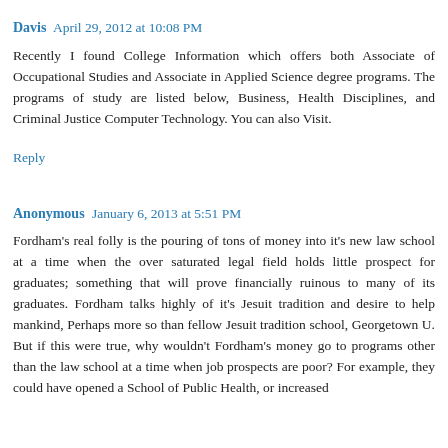Davis  April 29, 2012 at 10:08 PM
Recently I found College Information which offers both Associate of Occupational Studies and Associate in Applied Science degree programs. The programs of study are listed below, Business, Health Disciplines, and Criminal Justice Computer Technology. You can also Visit.
Reply
Anonymous  January 6, 2013 at 5:51 PM
Fordham's real folly is the pouring of tons of money into it's new law school at a time when the over saturated legal field holds little prospect for graduates; something that will prove financially ruinous to many of its graduates. Fordham talks highly of it's Jesuit tradition and desire to help mankind, Perhaps more so than fellow Jesuit tradition school, Georgetown U. But if this were true, why wouldn't Fordham's money go to programs other than the law school at a time when job prospects are poor? For example, they could have opened a School of Public Health, or increased